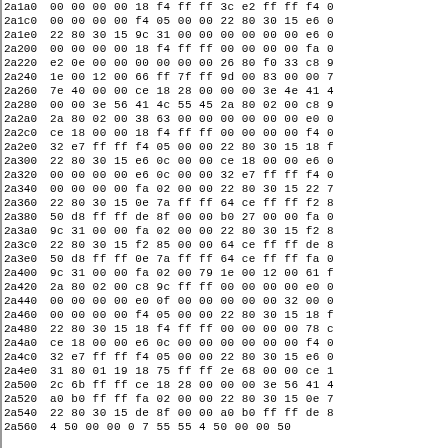| Address | Hex Data |
| --- | --- |
| 2a1a0 | 00 00 00 00 18 f4 ff ff 3c e2 ff ff f4 0 |
| 2a1c0 | 00 00 00 00 f4 05 00 00 22 80 30 15 e6 0 |
| 2a1e0 | 22 80 30 15 9c 31 00 00 00 00 00 00 e6 0 |
| 2a200 | 00 00 00 00 18 f4 ff ff 00 00 00 00 fa 0 |
| 2a220 | e2 0e 00 00 00 00 00 00 26 80 f0 33 c8 9 |
| 2a240 | 1e 00 12 00 66 ff 7f ff 9d 00 83 00 00 7 |
| 2a260 | 7e 40 00 00 ce 18 28 00 00 00 3e 4e 41 4 |
| 2a280 | 00 00 3e 56 41 4c 55 45 2a 80 02 00 c8 9 |
| 2a2a0 | 2a 80 02 00 38 63 00 00 00 00 00 00 e0 0 |
| 2a2c0 | ce 18 00 00 18 f4 ff ff 00 00 00 00 f4 0 |
| 2a2e0 | 32 e7 ff ff f4 05 00 00 22 80 30 15 18 f |
| 2a300 | 22 80 30 15 e6 0c 00 00 ce 18 00 00 e6 0 |
| 2a320 | 00 00 00 00 e6 0c 00 00 32 e7 ff ff f4 0 |
| 2a340 | 00 00 00 00 fa 02 00 00 22 80 30 15 22 7 |
| 2a360 | 22 80 30 15 0e 7a ff ff 64 ce ff ff f2 8 |
| 2a380 | 50 d8 ff ff de 8f 00 00 b0 27 00 00 fa 0 |
| 2a3a0 | 9c 31 00 00 fa 02 00 00 22 80 30 15 f2 8 |
| 2a3c0 | 22 80 30 15 f2 85 00 00 64 ce ff ff de 8 |
| 2a3e0 | 50 d8 ff ff 0e 7a ff ff 64 ce ff ff fa 0 |
| 2a400 | 9c 31 00 00 fa 02 00 79 1e 00 12 00 61 f |
| 2a420 | 2a 80 02 00 c8 9c ff ff 00 00 00 00 e0 0 |
| 2a440 | 00 00 00 00 e0 0f 00 00 00 00 00 32 00 0 |
| 2a460 | 00 00 00 00 f4 05 00 00 22 80 30 15 18 f |
| 2a480 | 22 80 30 15 18 f4 ff ff 00 00 00 00 78 c |
| 2a4a0 | ce 18 00 00 e6 0c 00 00 00 00 00 00 f4 0 |
| 2a4c0 | 32 e7 ff ff f4 05 00 00 22 80 30 15 e6 0 |
| 2a4e0 | 31 80 01 19 18 75 ff ff 2e 68 00 00 ce 1 |
| 2a500 | 2c 6b ff ff ce 18 28 00 00 00 3e 56 41 4 |
| 2a520 | a0 b0 ff ff fa 02 00 00 22 80 30 15 0e 7 |
| 2a540 | 22 80 30 15 de 8f 00 00 a0 b0 ff ff de 8 |
| 2a560 | 4 50 00 00 0 7  55 55 4  50 00 00 50 |